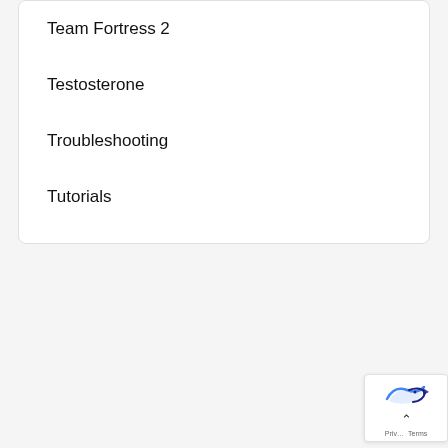Team Fortress 2
Testosterone
Troubleshooting
Tutorials
[Figure (logo): reCAPTCHA badge with blue/navy bird logo, chevron up arrow, and Privacy/Terms links]